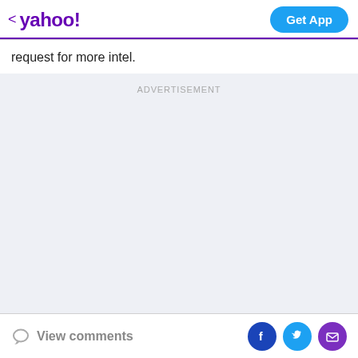< yahoo!  Get App
request for more intel.
ADVERTISEMENT
View comments